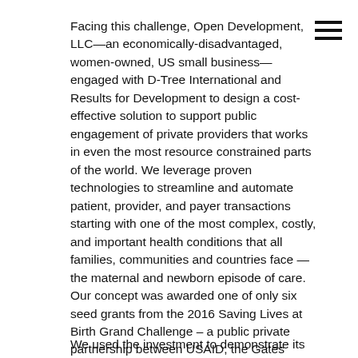Facing this challenge, Open Development, LLC—an economically-disadvantaged, women-owned, US small business—engaged with D-Tree International and Results for Development to design a cost-effective solution to support public engagement of private providers that works in even the most resource constrained parts of the world. We leverage proven technologies to streamline and automate patient, provider, and payer transactions starting with one of the most complex, costly, and important health conditions that all families, communities and countries face — the maternal and newborn episode of care. Our concept was awarded one of only six seed grants from the 2016 Saving Lives at Birth Grand Challenge – a public private partnership between USAID, the Gates Foundation, Norad, Grand Challenges Canada, DfID, and KOICA.
We used the investment to demonstrate its...